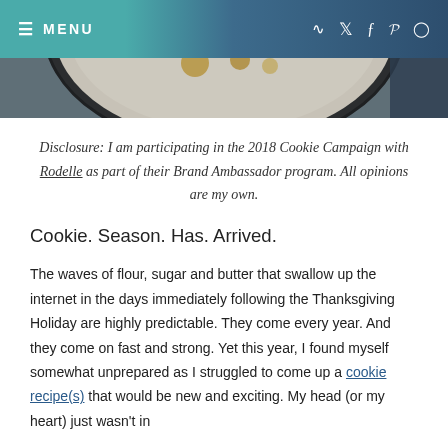≡ MENU  RSS Twitter Facebook Pinterest Instagram
[Figure (photo): Partial view of a decorated plate or dish with food, cropped at the top of the page]
Disclosure: I am participating in the 2018 Cookie Campaign with Rodelle as part of their Brand Ambassador program. All opinions are my own.
Cookie. Season. Has. Arrived.
The waves of flour, sugar and butter that swallow up the internet in the days immediately following the Thanksgiving Holiday are highly predictable. They come every year. And they come on fast and strong. Yet this year, I found myself somewhat unprepared as I struggled to come up a cookie recipe(s) that would be new and exciting. My head (or my heart) just wasn't in